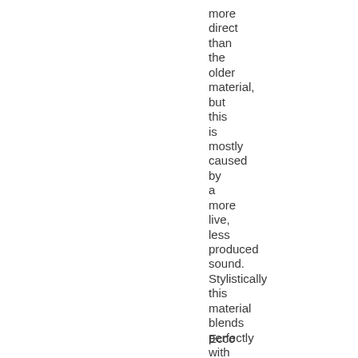more direct than the older material, but this is mostly caused by a more live, less produced sound. Stylistically this material blends perfectly with that of the debut.
Ecco